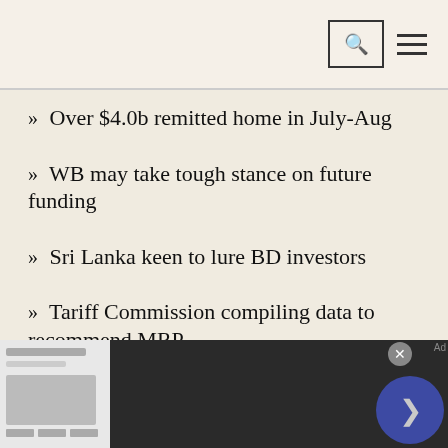Search and menu navigation header
Over $4.0b remitted home in July-Aug
WB may take tough stance on future funding
Sri Lanka keen to lure BD investors
Tariff Commission compiling data to recommend MRP
Rising energy prices could fuel social unrest across Europe this winter
Neighbourhood-wise water tariff to be introduced soon, says minister
[Figure (screenshot): Advertisement banner for Chewy.com - Pet Food, Products, Supplies at Low Prices. Pay the lowest prices on pet supplies at Chewy.com]